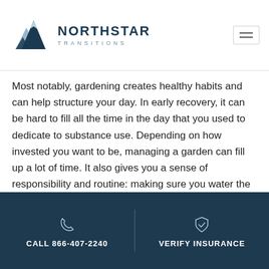NORTHSTAR TRANSITIONS
Most notably, gardening creates healthy habits and can help structure your day. In early recovery, it can be hard to fill all the time in the day that you used to dedicate to substance use. Depending on how invested you want to be, managing a garden can fill up a lot of time. It also gives you a sense of responsibility and routine: making sure you water the plants and trim them. The best part is, if you grow vegetables, you can enjoy your success in a fresh salad.
CALL 866-407-2240 | VERIFY INSURANCE